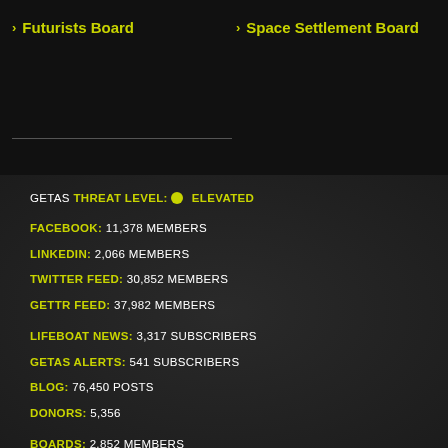Futurists Board
Space Settlement Board
GETAS THREAT LEVEL: ELEVATED
FACEBOOK: 11,378 MEMBERS
LINKEDIN: 2,066 MEMBERS
TWITTER FEED: 30,852 MEMBERS
GETTR FEED: 37,982 MEMBERS
LIFEBOAT NEWS: 3,317 SUBSCRIBERS
GETAS ALERTS: 541 SUBSCRIBERS
BLOG: 76,450 POSTS
DONORS: 5,356
BOARDS: 2,852 MEMBERS
REPORTS: 74
PROGRAMS: 25
FORUMS: 25